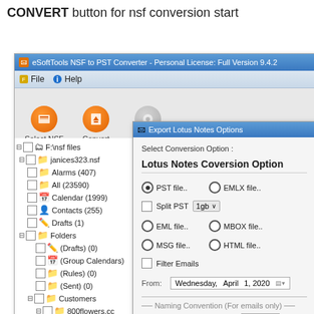CONVERT button for nsf conversion start
[Figure (screenshot): Screenshot of eSoftTools NSF to PST Converter application window showing file tree on left with F:\nsf files > janices323.nsf hierarchy (Alarms 407, All 23590, Calendar 1999, Contacts 255, Drafts 1, Folders, Customers, etc.) and Export Lotus Notes Options dialog overlay on right with options: Lotus Notes Coversion Option with radio buttons for PST file, EMLX file, Split PST with 1gb dropdown, EML file, MBOX file, MSG file, HTML file, Filter Emails checkbox, From date field showing Wednesday April 1 2020, Naming Convention section with Select Naming Convention: Subject dropdown]